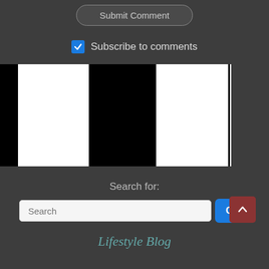Submit Comment
Subscribe to comments
[Figure (other): Barcode-style black and white vertical stripes pattern]
Search for:
Search
Go
Lifestyle Blog